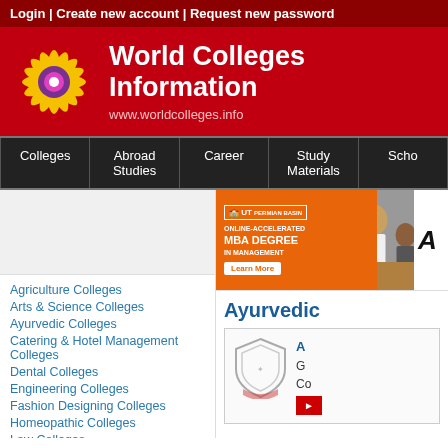Login | Create new account | Request new password
World Colleges Information
www.worldcolleges.info
Colleges
Abroad Studies
Career
Study Materials
Scho...
[Figure (photo): Advertisement banner: UT online MBA degree in management with photo of students]
Agriculture Colleges
Arts & Science Colleges
Ayurvedic Colleges
Catering & Hotel Management Colleges
Dental Colleges
Engineering Colleges
Fashion Designing Colleges
Homeopathic Colleges
Law Colleges
Management Institutions
Ayurvedic
[Figure (logo): Shield/crest logo for Ayurvedic Colleges]
Government Colleges